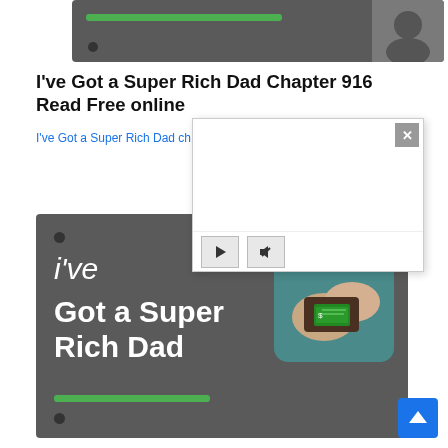[Figure (screenshot): Dark gray card widget with green progress bar and circular dots, thumbnail image on right]
I've Got a Super Rich Dad Chapter 916 Read Free online
I've Got a Super Rich Dad ch
[Figure (screenshot): Video player popup overlay with white background, close X button, play button and mute button controls]
[Figure (screenshot): Dark gray card with white text 'i've Got a Super Rich Dad' and wallet photo, green progress bar, dots]
[Figure (screenshot): Blue back-to-top arrow button]